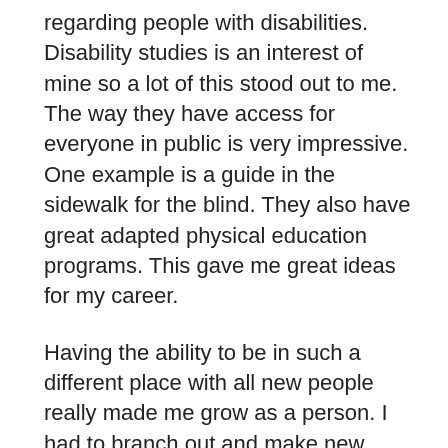regarding people with disabilities. Disability studies is an interest of mine so a lot of this stood out to me. The way they have access for everyone in public is very impressive. One example is a guide in the sidewalk for the blind. They also have great adapted physical education programs. This gave me great ideas for my career.
Having the ability to be in such a different place with all new people really made me grow as a person. I had to branch out and make new connections with people. We had a lot of opportunities to try new things like meditation, new sports, new food, etc. I think that all of these opportunities really enforced how good it is to try